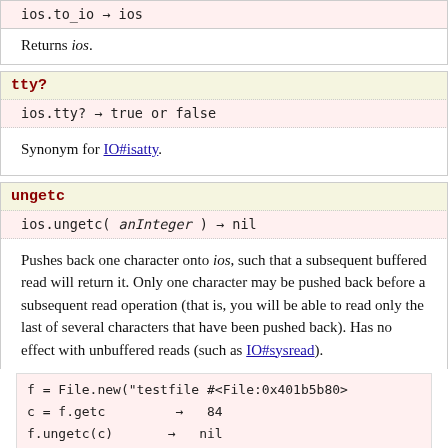ios.to_io → ios
Returns ios.
tty?
ios.tty? → true or false
Synonym for IO#isatty.
ungetc
ios.ungetc( anInteger ) → nil
Pushes back one character onto ios, such that a subsequent buffered read will return it. Only one character may be pushed back before a subsequent read operation (that is, you will be able to read only the last of several characters that have been pushed back). Has no effect with unbuffered reads (such as IO#sysread).
f = File.new("testfile")   #<File:0x401b5b80>
c = f.getc             →   84
f.ungetc(c)            →   nil
f.getc                     84